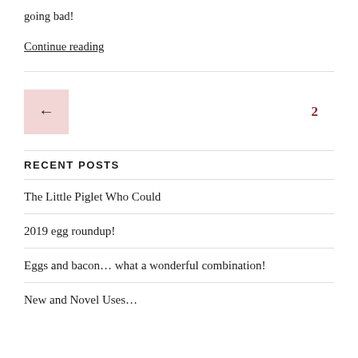going bad!
Continue reading
← 2
RECENT POSTS
The Little Piglet Who Could
2019 egg roundup!
Eggs and bacon… what a wonderful combination!
New and Novel Uses…